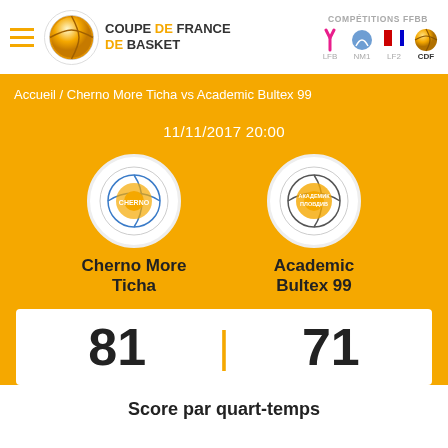COUPE DE FRANCE DE BASKET | COMPÉTITIONS FFBB | LFB NM1 LF2 CDF
Accueil / Cherno More Ticha vs Academic Bultex 99
11/11/2017 20:00
Cherno More Ticha
Academic Bultex 99
81 | 71
Score par quart-temps